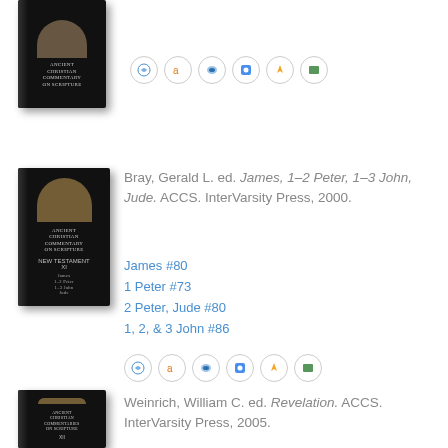[Figure (illustration): Book cover for ACCS volume at top left]
[Figure (illustration): Row of 6 retailer/platform icon circles for first entry]
[Figure (illustration): Book cover for James, 1-2 Peter, 1-3 John, Jude ACCS volume XI]
Bray, Gerald L. ed. James, 1–2 Peter, 1–3 John, Jude. ACCS. InterVarsity Press, 2000.
James #80
1 Peter #73
2 Peter, Jude #80
1, 2, & 3 John #86
[Figure (illustration): Row of 6 retailer/platform icon circles for second entry]
[Figure (illustration): Book cover for Revelation ACCS volume XII]
Weinrich, William C. ed. Revelation. ACCS. InterVarsity Press, 2005.